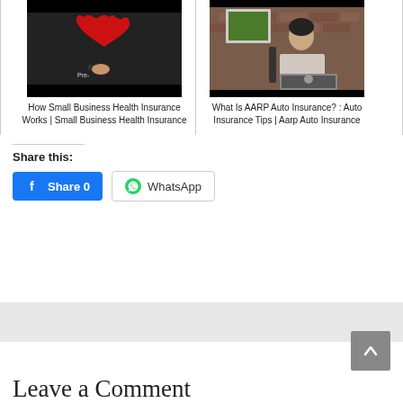[Figure (screenshot): Video thumbnail showing red heart on dark background with text 'Pre-' and a hand holding a marker]
How Small Business Health Insurance Works | Small Business Health Insurance
[Figure (screenshot): Video thumbnail showing a man in a striped shirt sitting at a desk with a laptop, brick wall background and framed picture]
What Is AARP Auto Insurance? : Auto Insurance Tips | Aarp Auto Insurance
Share this:
Share 0
WhatsApp
Leave a Comment